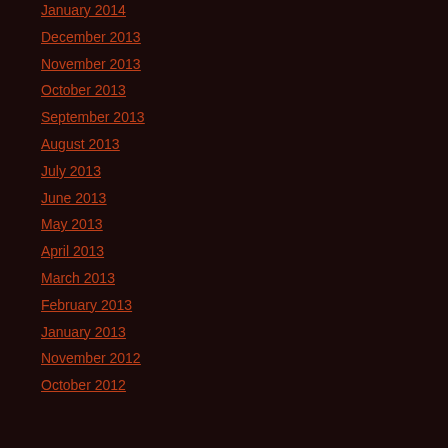January 2014
December 2013
November 2013
October 2013
September 2013
August 2013
July 2013
June 2013
May 2013
April 2013
March 2013
February 2013
January 2013
November 2012
October 2012